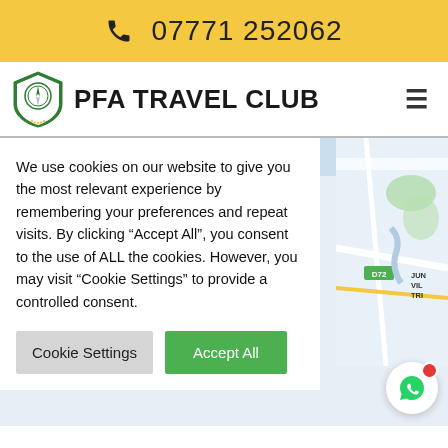07771 252062
PFA TRAVEL CLUB
[Figure (map): Partial Google Maps view showing Jumeirah area with D72 road marker and JUN VIL TRI labels visible]
We use cookies on our website to give you the most relevant experience by remembering your preferences and repeat visits. By clicking "Accept All", you consent to the use of ALL the cookies. However, you may visit "Cookie Settings" to provide a controlled consent.
Cookie Settings | Accept All